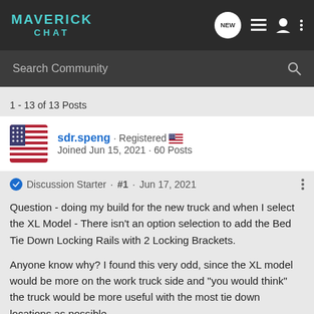MAVERICK CHAT
Search Community
1 - 13 of 13 Posts
sdr.speng · Registered
Joined Jun 15, 2021 · 60 Posts
Discussion Starter · #1 · Jun 17, 2021
Question - doing my build for the new truck and when I select the XL Model - There isn't an option selection to add the Bed Tie Down Locking Rails with 2 Locking Brackets.

Anyone know why? I found this very odd, since the XL model would be more on the work truck side and "you would think" the truck would be more useful with the most tie down locations as possible.